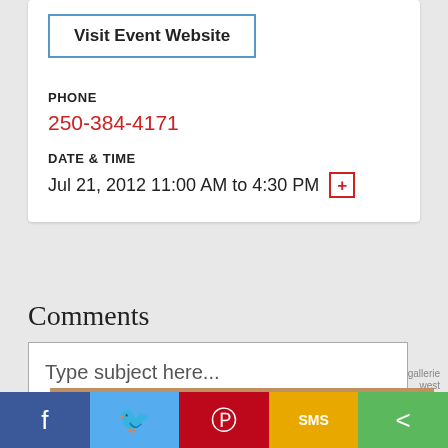Visit Event Website
PHONE
250-384-4171
DATE & TIME
Jul 21, 2012 11:00 AM to 4:30 PM
Comments
Type subject here...